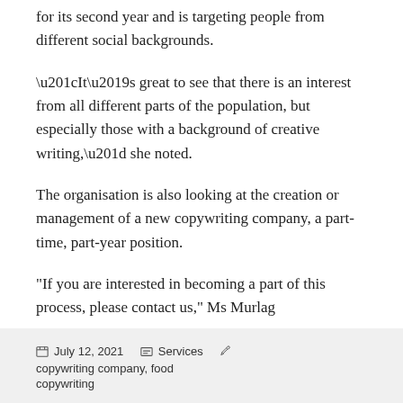for its second year and is targeting people from different social backgrounds.
“It’s great to see that there is an interest from all different parts of the population, but especially those with a background of creative writing,” she noted.
The organisation is also looking at the creation or management of a new copywriting company, a part-time, part-year position.
“If you are interested in becoming a part of this process, please contact us,” Ms Murlag
July 12, 2021   Services   copywriting company, food copywriting